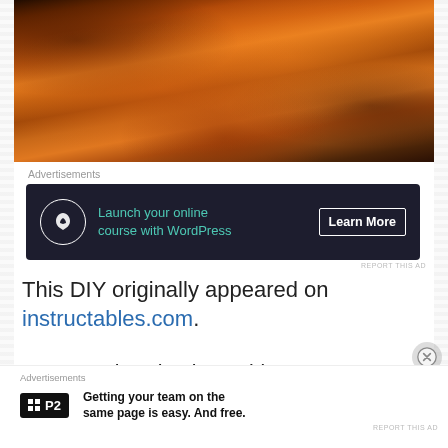[Figure (photo): Close-up photo of orange/amber fluffy fur, likely a cat or similar animal, with dark background tones]
Advertisements
[Figure (screenshot): Dark advertisement banner: bonsai tree icon, text 'Launch your online course with WordPress', 'Learn More' button]
REPORT THIS AD
This DIY originally appeared on instructables.com.
You can also check out this on a
Advertisements
[Figure (screenshot): P2 advertisement: P2 logo with grid icon, text 'Getting your team on the same page is easy. And free.']
REPORT THIS AD